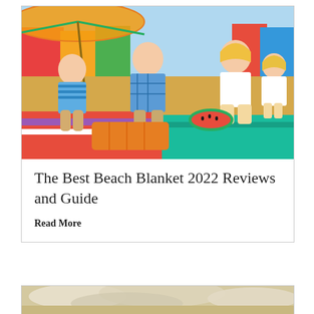[Figure (photo): Family sitting on beach blanket with colorful beach huts in background, eating fruit including watermelon and orange slices, colorful striped towels and umbrella visible]
The Best Beach Blanket 2022 Reviews and Guide
Read More
[Figure (photo): Partial view of a sandy/cloudy beach scene, bottom card preview]